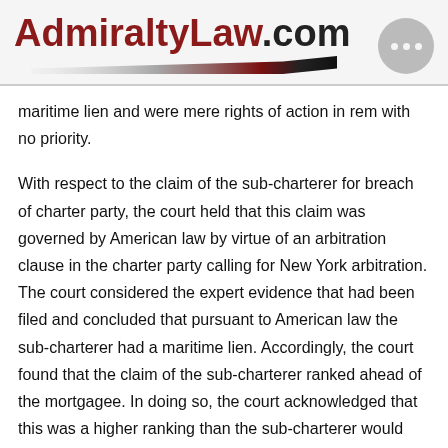AdmiraltyLaw.com
maritime lien and were mere rights of action in rem with no priority.
With respect to the claim of the sub-charterer for breach of charter party, the court held that this claim was governed by American law by virtue of an arbitration clause in the charter party calling for New York arbitration. The court considered the expert evidence that had been filed and concluded that pursuant to American law the sub-charterer had a maritime lien. Accordingly, the court found that the claim of the sub-charterer ranked ahead of the mortgagee. In doing so, the court acknowledged that this was a higher ranking than the sub-charterer would enjoy under American law. This result flows from the fact that the substantive nature of the lien is determined by